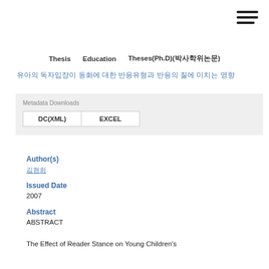Thesis  Education  Theses(Ph.D)(박사학위논문)
유아의 독자입장이 동화에 대한 반응유형과 반응의 질에 미치는 영향
Metadata Downloads
DC(XML)  EXCEL
Author(s)
김현희
Issued Date
2007
Abstract
ABSTRACT
The Effect of Reader Stance on Young Children's